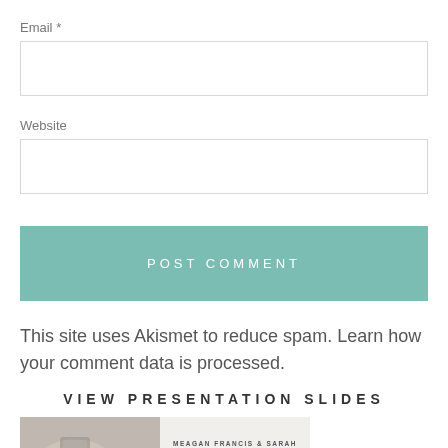Email *
Website
POST COMMENT
This site uses Akismet to reduce spam. Learn how your comment data is processed.
VIEW PRESENTATION SLIDES
[Figure (photo): Hands holding a phone with text overlay reading 'Meagan Francis & Sarah Powers - The Mom Hour + Life, Listened']